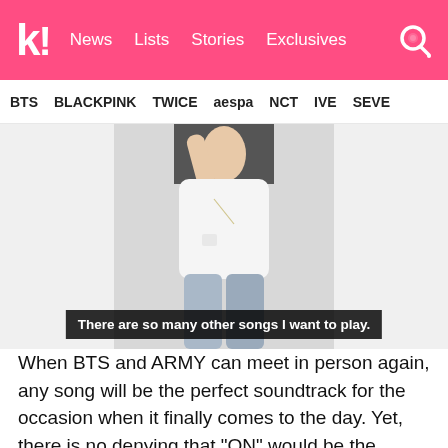k! News Lists Stories Exclusives
BTS BLACKPINK TWICE aespa NCT IVE SEVE
[Figure (photo): Person wearing a white t-shirt and jeans, with subtitle text overlay: 'There are so many other songs I want to play.']
When BTS and ARMY can meet in person again, any song will be the perfect soundtrack for the occasion when it finally comes to the day. Yet, there is no denying that "ON" would be the perfect track in many ways! In the meantime, make sure to watch the video for the track below.